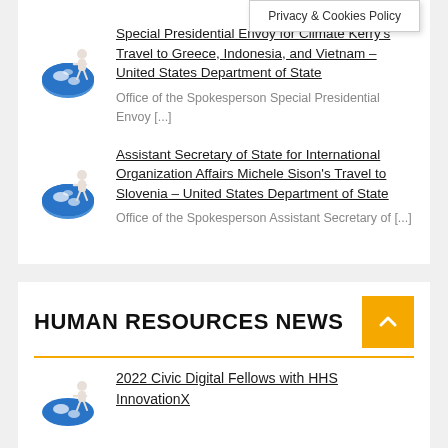Privacy & Cookies Policy
Special Presidential Envoy for Climate Kerry's Travel to Greece, Indonesia, and Vietnam – United States Department of State
Office of the Spokesperson Special Presidential Envoy [...]
Assistant Secretary of State for International Organization Affairs Michele Sison's Travel to Slovenia – United States Department of State
Office of the Spokesperson Assistant Secretary of [...]
HUMAN RESOURCES NEWS
2022 Civic Digital Fellows with HHS InnovationX